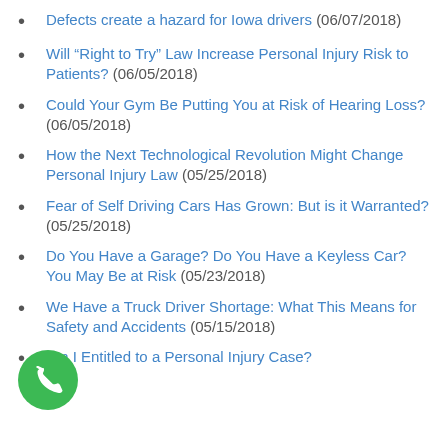Defects create a hazard for Iowa drivers (06/07/2018)
Will “Right to Try” Law Increase Personal Injury Risk to Patients? (06/05/2018)
Could Your Gym Be Putting You at Risk of Hearing Loss? (06/05/2018)
How the Next Technological Revolution Might Change Personal Injury Law (05/25/2018)
Fear of Self Driving Cars Has Grown: But is it Warranted? (05/25/2018)
Do You Have a Garage? Do You Have a Keyless Car? You May Be at Risk (05/23/2018)
We Have a Truck Driver Shortage: What This Means for Safety and Accidents (05/15/2018)
Am I Entitled to a Personal Injury Case?